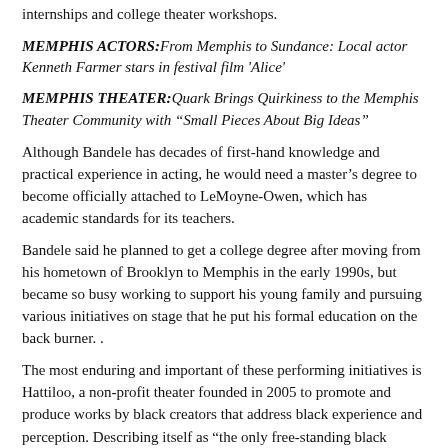internships and college theater workshops.
MEMPHIS ACTORS: From Memphis to Sundance: Local actor Kenneth Farmer stars in festival film ‘Alice’
MEMPHIS THEATER: Quark Brings Quirkiness to the Memphis Theater Community with “Small Pieces About Big Ideas”
Although Bandele has decades of first-hand knowledge and practical experience in acting, he would need a master’s degree to become officially attached to LeMoyne-Owen, which has academic standards for its teachers.
Bandele said he planned to get a college degree after moving from his hometown of Brooklyn to Memphis in the early 1990s, but became so busy working to support his young family and pursuing various initiatives on stage that he put his formal education on the back burner. .
The most enduring and important of these performing initiatives is Hattiloo, a non-profit theater founded in 2005 to promote and produce works by black creators that address black experience and perception. Describing itself as “the only free-standing black repertory theater in five surrounding states,” Hattiloo moved in 2014 from its cramped original home on Marshall Avenue near Sun Studio to its current location, a new $3.3 million building, dollars